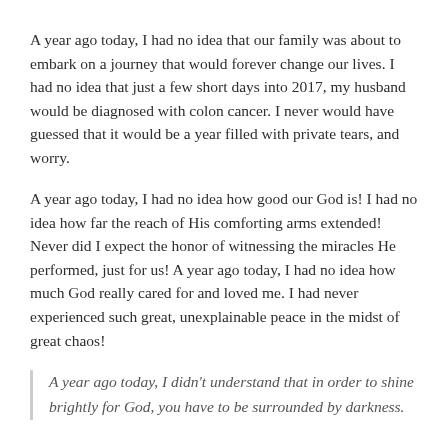A year ago today, I had no idea that our family was about to embark on a journey that would forever change our lives. I had no idea that just a few short days into 2017, my husband would be diagnosed with colon cancer. I never would have guessed that it would be a year filled with private tears, and worry.
A year ago today, I had no idea how good our God is! I had no idea how far the reach of His comforting arms extended! Never did I expect the honor of witnessing the miracles He performed, just for us! A year ago today, I had no idea how much God really cared for and loved me. I had never experienced such great, unexplainable peace in the midst of great chaos!
A year ago today, I didn't understand that in order to shine brightly for God, you have to be surrounded by darkness.